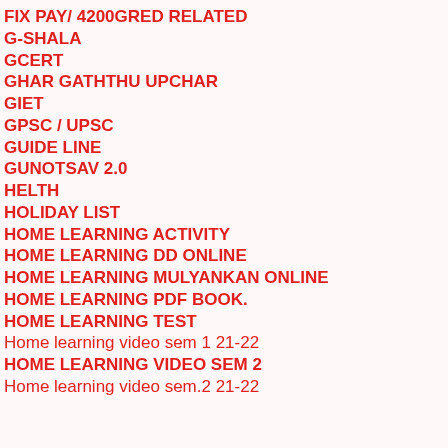FIX PAY/ 4200GRED RELATED
G-SHALA
GCERT
GHAR GATHTHU UPCHAR
GIET
GPSC / UPSC
GUIDE LINE
GUNOTSAV 2.0
HELTH
HOLIDAY LIST
HOME LEARNING ACTIVITY
HOME LEARNING DD ONLINE
HOME LEARNING MULYANKAN ONLINE
HOME LEARNING PDF BOOK.
HOME LEARNING TEST
Home learning video sem 1 21-22
HOME LEARNING VIDEO SEM 2
Home learning video sem.2 21-22